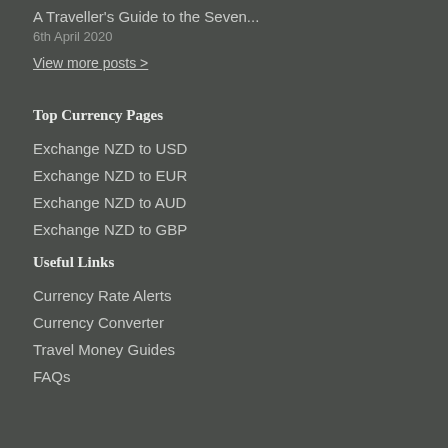A Traveller's Guide to the Seven...
6th April 2020
View more posts >
Top Currency Pages
Exchange NZD to USD
Exchange NZD to EUR
Exchange NZD to AUD
Exchange NZD to GBP
Useful Links
Currency Rate Alerts
Currency Converter
Travel Money Guides
FAQs